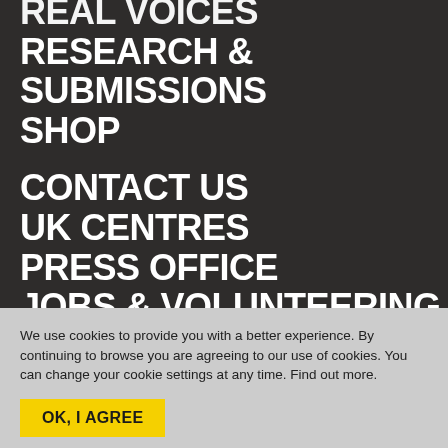REAL VOICES
RESEARCH & SUBMISSIONS
SHOP
CONTACT US
UK CENTRES
PRESS OFFICE
JOBS & VOLUNTEERING
We use cookies to provide you with a better experience. By continuing to browse you are agreeing to our use of cookies. You can change your cookie settings at any time. Find out more.
OK, I AGREE